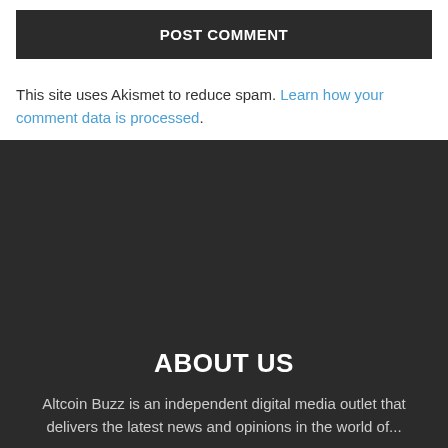POST COMMENT
This site uses Akismet to reduce spam. Learn how your comment data is processed.
ABOUT US
Altcoin Buzz is an independent digital media outlet that delivers the latest news and opinions in the world of...